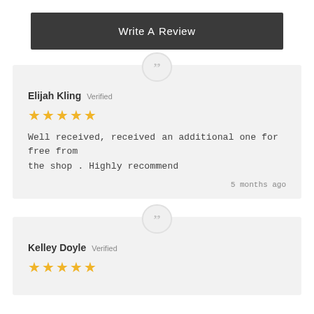Write A Review
Elijah Kling Verified
★★★★★
Well received, received an additional one for free from the shop . Highly recommend
5 months ago
Kelley Doyle Verified
★★★★★